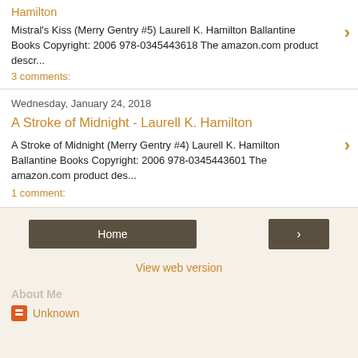Hamilton
Mistral's Kiss (Merry Gentry #5) Laurell K. Hamilton Ballantine Books Copyright: 2006 978-0345443618 The amazon.com product descr...
3 comments:
Wednesday, January 24, 2018
A Stroke of Midnight - Laurell K. Hamilton
A Stroke of Midnight (Merry Gentry #4) Laurell K. Hamilton Ballantine Books Copyright: 2006 978-0345443601 The amazon.com product des...
1 comment:
Home
View web version
About Me
Unknown